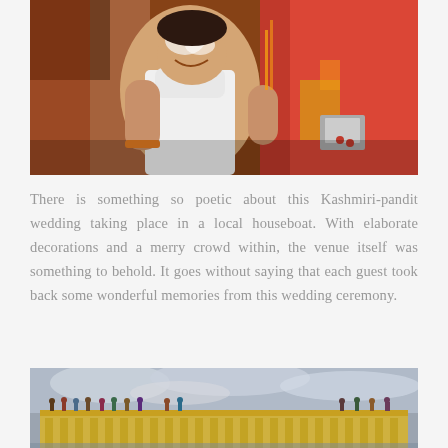[Figure (photo): A man laughing during a Kashmiri-pandit wedding ceremony, with white paste on his face, wearing a white sleeveless shirt and orange bracelet, while a woman in a red saree with gold jewelry holds something near him]
There is something so poetic about this Kashmiri-pandit wedding taking place in a local houseboat. With elaborate decorations and a merry crowd within, the venue itself was something to behold. It goes without saying that each guest took back some wonderful memories from this wedding ceremony.
[Figure (photo): A large ornate yellow building (houseboat/palace) on water with many guests visible on the rooftop, under a cloudy sky]